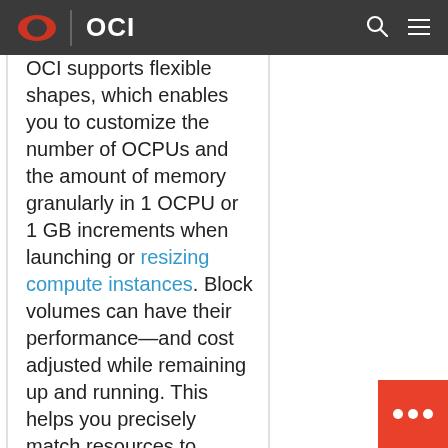OCI
OCI supports flexible shapes, which enables you to customize the number of OCPUs and the amount of memory granularly in 1 OCPU or 1 GB increments when launching or resizing compute instances. Block volumes can have their performance—and cost adjusted while remaining up and running. This helps you precisely match resources to workloads, optimizing performance while minimizing cost. This is especially valuable for applications with special needs like unusual core-to-memory ratios or expensive per-core software licensing.
Amazon Elastic Compute